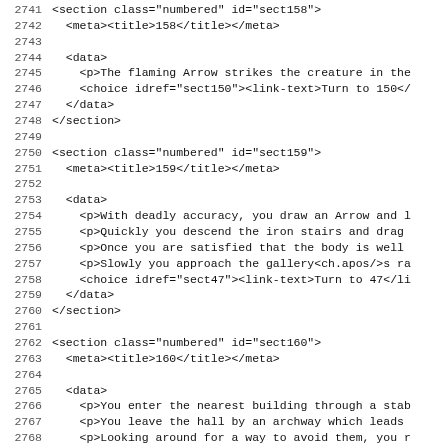Code listing showing XML sections 158, 159, 160 with lines 2741-2772
2741  <section class="numbered" id="sect158">
2742    <meta><title>158</title></meta>
2743
2744    <data>
2745      <p>The flaming Arrow strikes the creature in the
2746      <choice idref="sect150"><link-text>Turn to 150</
2747    </data>
2748  </section>
2749
2750  <section class="numbered" id="sect159">
2751    <meta><title>159</title></meta>
2752
2753    <data>
2754      <p>With deadly accuracy, you draw an Arrow and l
2755      <p>Quickly you descend the iron stairs and drag
2756      <p>Once you are satisfied that the body is well
2757      <p>Slowly you approach the gallery<ch.apos/>s ra
2758      <choice idref="sect47"><link-text>Turn to 47</li
2759    </data>
2760  </section>
2761
2762  <section class="numbered" id="sect160">
2763    <meta><title>160</title></meta>
2764
2765    <data>
2766      <p>You enter the nearest building through a stab
2767      <p>You leave the hall by an archway which leads
2768      <p>Looking around for a way to avoid them, you r
2769      <choice idref="sect272">If you wish to enter the
2770      <choice idref="sect244">If you choose to enter t
2771    </data>
2772  </section>